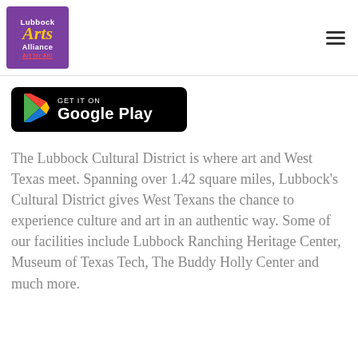[Figure (logo): Lubbock Arts Alliance logo — purple square with 'Lubbock Arts Alliance Art for All!' text]
[Figure (screenshot): Google Play Store badge — 'GET IT ON Google Play' with colorful play triangle icon on black rounded rectangle background]
The Lubbock Cultural District is where art and West Texas meet. Spanning over 1.42 square miles, Lubbock's Cultural District gives West Texans the chance to experience culture and art in an authentic way. Some of our facilities include Lubbock Ranching Heritage Center, Museum of Texas Tech, The Buddy Holly Center and much more.